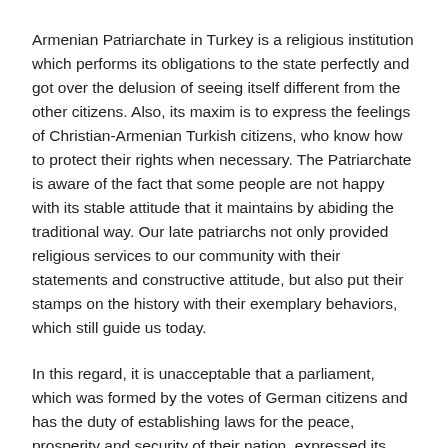Armenian Patriarchate in Turkey is a religious institution which performs its obligations to the state perfectly and got over the delusion of seeing itself different from the other citizens. Also, its maxim is to express the feelings of Christian-Armenian Turkish citizens, who know how to protect their rights when necessary. The Patriarchate is aware of the fact that some people are not happy with its stable attitude that it maintains by abiding the traditional way. Our late patriarchs not only provided religious services to our community with their statements and constructive attitude, but also put their stamps on the history with their exemplary behaviors, which still guide us today.
In this regard, it is unacceptable that a parliament, which was formed by the votes of German citizens and has the duty of establishing laws for the peace, prosperity and security of their nation, expressed its opinion, though it has no right to do so. It is unacceptable that this parliament legalized its decision on behalf of the entire German nation and considers itself a judge.